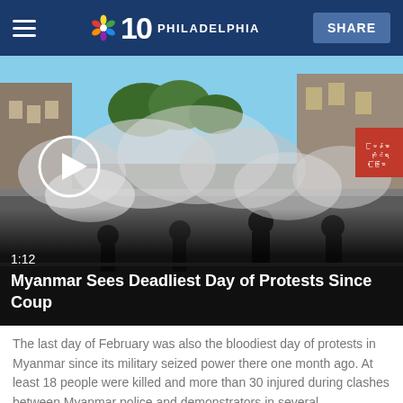NBC 10 PHILADELPHIA | SHARE
[Figure (photo): Video thumbnail showing protesters and police in Myanmar streets with tear gas smoke. Play button overlay visible. Duration: 1:12. Title: Myanmar Sees Deadliest Day of Protests Since Coup]
1:12
Myanmar Sees Deadliest Day of Protests Since Coup
The last day of February was also the bloodiest day of protests in Myanmar since its military seized power there one month ago. At least 18 people were killed and more than 30 injured during clashes between Myanmar police and demonstrators in several
Police in Myanmar’s biggest city fired tear gas Monday at defiant crowds who returned to the streets to protest last month’s coup, despite the security forces already killed